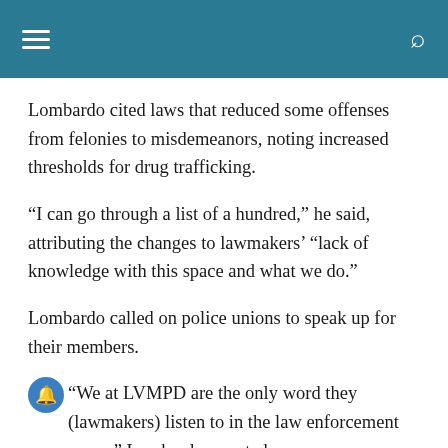≡  [search icon]
Lombardo cited laws that reduced some offenses from felonies to misdemeanors, noting increased thresholds for drug trafficking.
“I can go through a list of a hundred,” he said, attributing the changes to lawmakers’ “lack of knowledge with this space and what we do.”
Lombardo called on police unions to speak up for their members.
“We at LVMPD are the only word they (lawmakers) listen to in the law enforcement space,” Lombardo asserted,